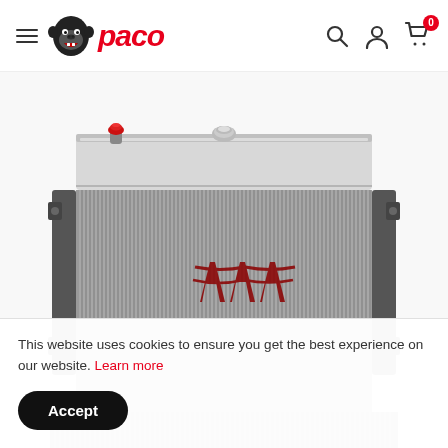Paco - navigation header with logo, hamburger menu, search, account, and cart icons
[Figure (photo): Aluminum performance radiator product photo showing a wide aluminum radiator core with vertical cooling fins, mounting brackets on both sides, a silver top tank with a red cap/port on the left side, a chrome filler neck in the center top, and a dark red stylized logo on the core face. Additional small radiator visible at very bottom edge.]
This website uses cookies to ensure you get the best experience on our website. Learn more
Accept